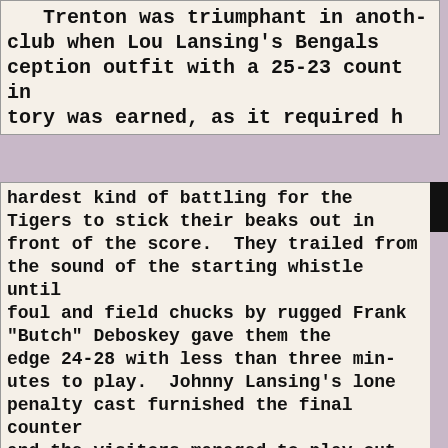Trenton was triumphant in anoth- club when Lou Lansing's Bengals ception outfit with a 25-23 count in tory was earned, as it required h
hardest kind of battling for the Tigers to stick their beaks out in front of the score. They trailed from the sound of the starting whistle until foul and field chucks by rugged Frank "Butch" Deboskey gave them the edge 24-28 with less than three minutes to play. Johnny Lansing's lone penalty cast furnished the final counter and the visitors managed to play out the last 70 seconds without having their lead shaved. This conquest puts the Tigers closer to Salem and Ocean City, the South Jersey League pace-setters, and drops the Irishers down to last place again Trenton has copped six games whil-